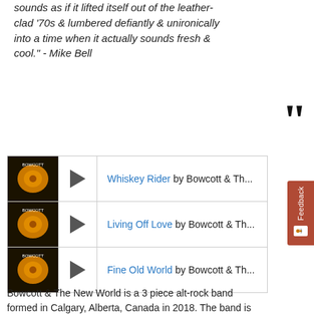sounds as if it lifted itself out of the leather-clad '70s & lumbered defiantly & unironically into a time when it actually sounds fresh & cool." - Mike Bell
Whiskey Rider by Bowcott & Th...
Living Off Love by Bowcott & Th...
Fine Old World by Bowcott & Th...
Bowcott & The New World is a 3 piece alt-rock band formed in Calgary, Alberta, Canada in 2018. The band is Jay Bowcott (Vocals and Guitar), Darryl Swart (Drums) and Brent Rossal (Bass).
They are unapologetic guitar rock, drawing influences from bands like Thin Lizzy, The Rolling Stones and The Black Crowes. Bowcott and the New World are a band...